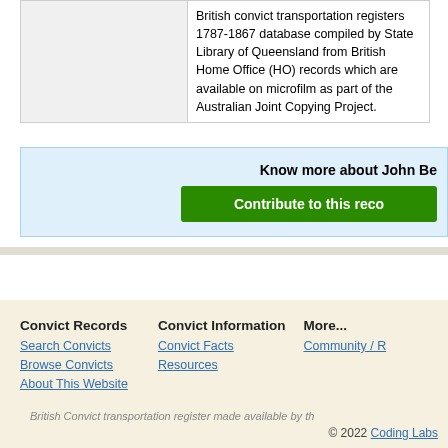|  | British convict transportation registers 1787-1867 database compiled by State Library of Queensland from British Home Office (HO) records which are available on microfilm as part of the Australian Joint Copying Project. |
Know more about John Be
Contribute to this reco
Convict Records
Search Convicts
Browse Convicts
About This Website
Convict Information
Convict Facts
Resources
More...
Community / R
British Convict transportation register made available by th
© 2022 Coding Labs